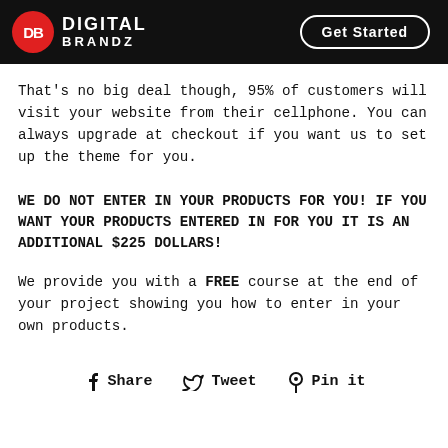Digital Brandz | Get Started
That's no big deal though, 95% of customers will visit your website from their cellphone. You can always upgrade at checkout if you want us to set up the theme for you.
WE DO NOT ENTER IN YOUR PRODUCTS FOR YOU! IF YOU WANT YOUR PRODUCTS ENTERED IN FOR YOU IT IS AN ADDITIONAL $225 DOLLARS!
We provide you with a FREE course at the end of your project showing you how to enter in your own products.
Share  Tweet  Pin it